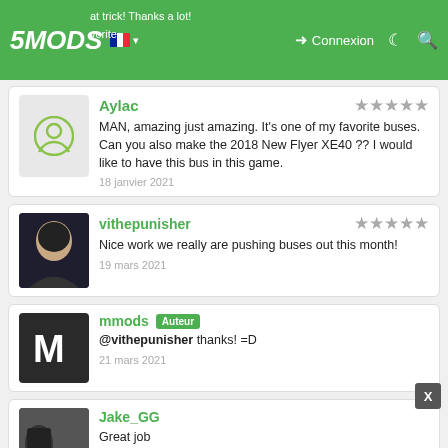5MODS | Connexion
Aylac — 5 stars — MAN, amazing just amazing. It's one of my favorite buses. Can you also make the 2018 New Flyer XE40 ?? I would like to have this bus in this game. — 18 janvier 2021
vithepunisher — 5 stars — Nice work we really are pushing buses out this month! — 19 mars 2021
mmods Auteur — @vithepunisher thanks! =D — 21 mars 2021
Jake_GG — Great job